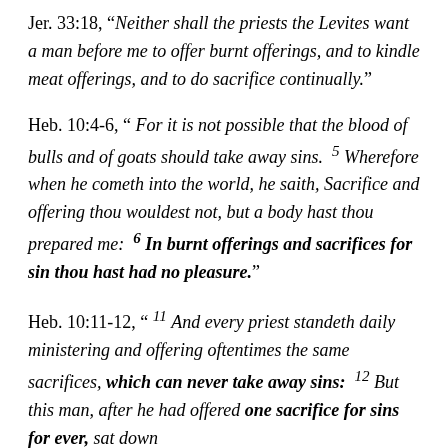Jer. 33:18, "Neither shall the priests the Levites want a man before me to offer burnt offerings, and to kindle meat offerings, and to do sacrifice continually."
Heb. 10:4-6, " For it is not possible that the blood of bulls and of goats should take away sins. 5 Wherefore when he cometh into the world, he saith, Sacrifice and offering thou wouldest not, but a body hast thou prepared me: 6 In burnt offerings and sacrifices for sin thou hast had no pleasure."
Heb. 10:11-12, " 11 And every priest standeth daily ministering and offering oftentimes the same sacrifices, which can never take away sins: 12 But this man, after he had offered one sacrifice for sins for ever, sat down on the right hand of God;"